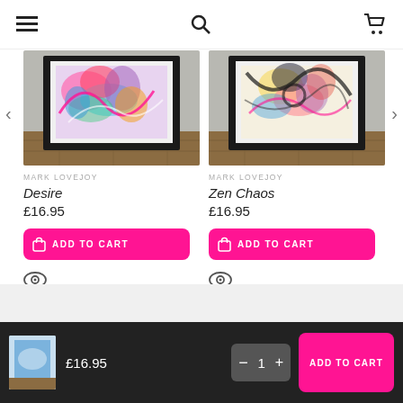Navigation bar with menu, search, and cart icons
[Figure (illustration): Framed abstract colorful painting 'Desire' by Mark Lovejoy on wooden floor]
MARK LOVEJOY
Desire
£16.95
ADD TO CART
[Figure (illustration): Framed abstract colorful painting 'Zen Chaos' by Mark Lovejoy on wooden floor]
MARK LOVEJOY
Zen Chaos
£16.95
ADD TO CART
£16.95  quantity: 1  ADD TO CART